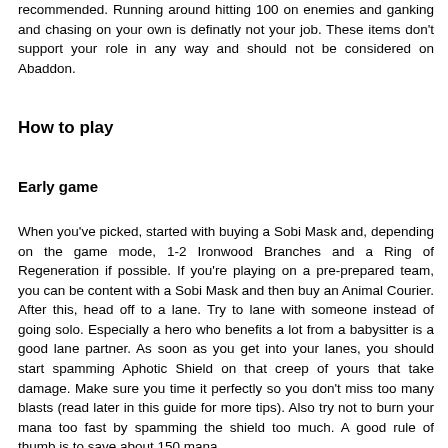recommended. Running around hitting 100 on enemies and ganking and chasing on your own is definatly not your job. These items don't support your role in any way and should not be considered on Abaddon.
How to play
Early game
When you've picked, started with buying a Sobi Mask and, depending on the game mode, 1-2 Ironwood Branches and a Ring of Regeneration if possible. If you're playing on a pre-prepared team, you can be content with a Sobi Mask and then buy an Animal Courier. After this, head off to a lane. Try to lane with someone instead of going solo. Especially a hero who benefits a lot from a babysitter is a good lane partner. As soon as you get into your lanes, you should start spamming Aphotic Shield on that creep of yours that take damage. Make sure you time it perfectly so you don't miss too many blasts (read later in this guide for more tips). Also try not to burn your mana too fast by spamming the shield too much. A good rule of thumb is to save about 150 mana